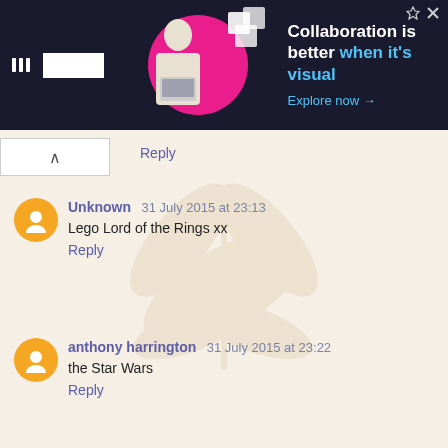[Figure (screenshot): Lucid advertisement banner with dark background, logo, person with laptop on pink circle, paper/card graphics, and text 'Collaboration is better when it's visual. Explore now →']
Reply
Unknown  31 July 2015 at 23:13
Lego Lord of the Rings xx
Reply
anthony harrington  31 July 2015 at 23:22
the Star Wars
Reply
Anonymous  31 July 2015 at 23:25
The simpsons house!! how cool!! :D
Reply